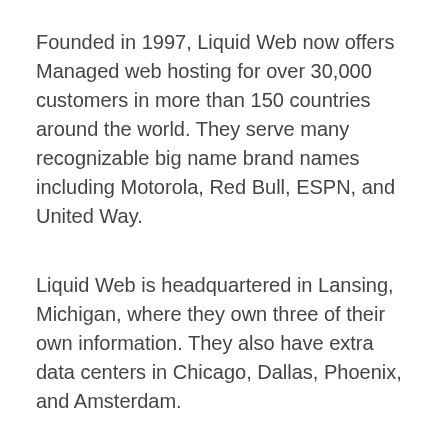Founded in 1997, Liquid Web now offers Managed web hosting for over 30,000 customers in more than 150 countries around the world. They serve many recognizable big name brand names including Motorola, Red Bull, ESPN, and United Way.
Liquid Web is headquartered in Lansing, Michigan, where they own three of their own information. They also have extra data centers in Chicago, Dallas, Phoenix, and Amsterdam.
What Makes Liquid Web Different?